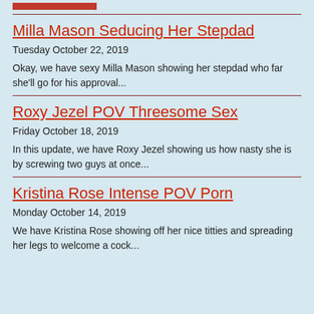Milla Mason Seducing Her Stepdad
Tuesday October 22, 2019
Okay, we have sexy Milla Mason showing her stepdad who far she'll go for his approval...
Roxy Jezel POV Threesome Sex
Friday October 18, 2019
In this update, we have Roxy Jezel showing us how nasty she is by screwing two guys at once...
Kristina Rose Intense POV Porn
Monday October 14, 2019
We have Kristina Rose showing off her nice titties and spreading her legs to welcome a cock...